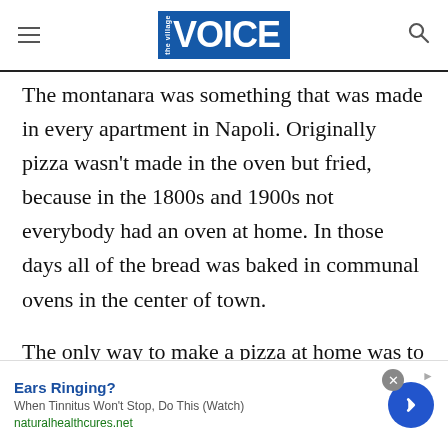the village VOICE
The montanara was something that was made in every apartment in Napoli. Originally pizza wasn't made in the oven but fried, because in the 1800s and 1900s not everybody had an oven at home. In those days all of the bread was baked in communal ovens in the center of town.
The only way to make a pizza at home was to fry it. Basically, the original montanara was fried and then topped with tomato and Parmesan. In my house, my grandma would prepare the montanara for the
[Figure (other): Advertisement banner: Ears Ringing? When Tinnitus Won't Stop, Do This (Watch) - naturalhealthcures.net, with a blue circular arrow button]